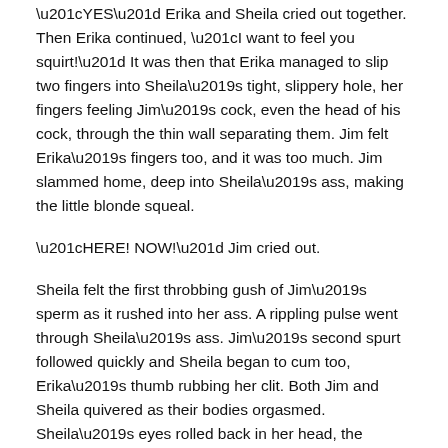“YES” Erika and Sheila cried out together. Then Erika continued, “I want to feel you squirt!” It was then that Erika managed to slip two fingers into Sheila’s tight, slippery hole, her fingers feeling Jim’s cock, even the head of his cock, through the thin wall separating them. Jim felt Erika’s fingers too, and it was too much. Jim slammed home, deep into Sheila’s ass, making the little blonde squeal.
“HERE! NOW!” Jim cried out.
Sheila felt the first throbbing gush of Jim’s sperm as it rushed into her ass. A rippling pulse went through Sheila’s ass. Jim’s second spurt followed quickly and Sheila began to cum too, Erika’s thumb rubbing her clit. Both Jim and Sheila quivered as their bodies orgasmed. Sheila’s eyes rolled back in her head, the feeling of Jim’s sperm flooding deep into her ass kept her reeling for long moments.